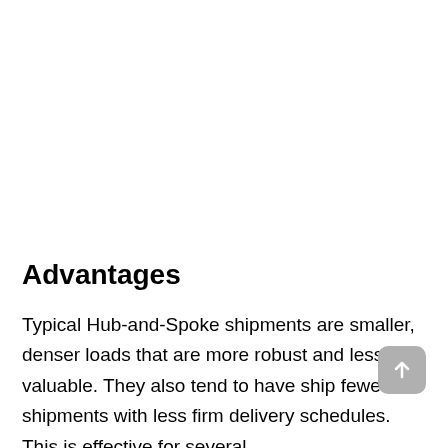Advantages
Typical Hub-and-Spoke shipments are smaller, denser loads that are more robust and less valuable. They also tend to have ship fewer shipments with less firm delivery schedules. This is effective for several reasons.